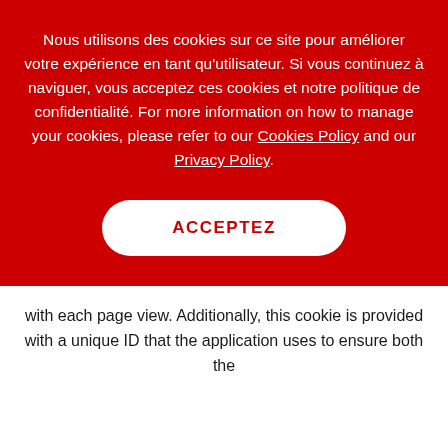Nous utilisons des cookies sur ce site pour améliorer votre expérience en tant qu'utilisateur. Si vous continuez à naviguer, vous acceptez ces cookies et notre politique de confidentialité. For more information on how to manage your cookies, please refer to our Cookies Policy and our Privacy Policy.
ACCEPTEZ
with each page view. Additionally, this cookie is provided with a unique ID that the application uses to ensure both the